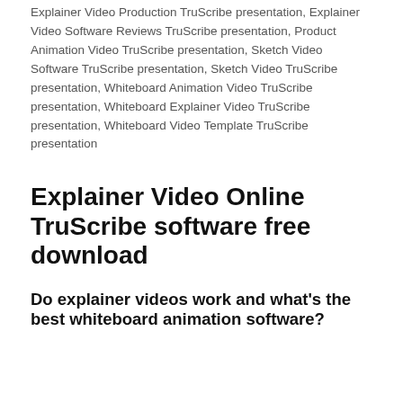Explainer Video Production TruScribe presentation, Explainer Video Software Reviews TruScribe presentation, Product Animation Video TruScribe presentation, Sketch Video Software TruScribe presentation, Sketch Video TruScribe presentation, Whiteboard Animation Video TruScribe presentation, Whiteboard Explainer Video TruScribe presentation, Whiteboard Video Template TruScribe presentation
Explainer Video Online TruScribe software free download
Do explainer videos work and what's the best whiteboard animation software?